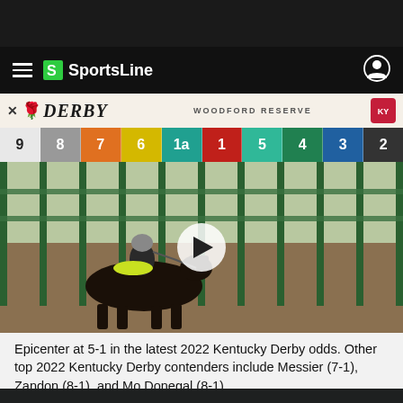[Figure (screenshot): SportsLine website screenshot showing Kentucky Derby article with horse at starting gate, header navigation, and join now footer]
Epicenter at 5-1 in the latest 2022 Kentucky Derby odds. Other top 2022 Kentucky Derby contenders include Messier (7-1), Zandon (8-1), and Mo Donegal (8-1).
JOIN NOW